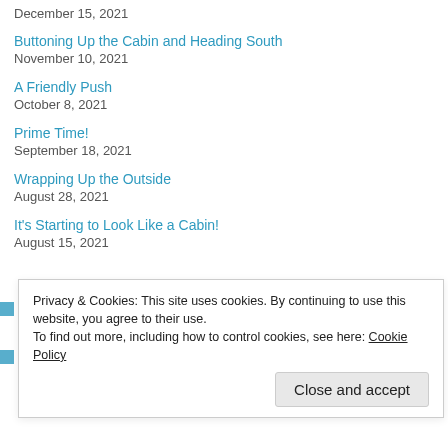December 15, 2021
Buttoning Up the Cabin and Heading South
November 10, 2021
A Friendly Push
October 8, 2021
Prime Time!
September 18, 2021
Wrapping Up the Outside
August 28, 2021
It's Starting to Look Like a Cabin!
August 15, 2021
Privacy & Cookies: This site uses cookies. By continuing to use this website, you agree to their use.
To find out more, including how to control cookies, see here: Cookie Policy
Close and accept